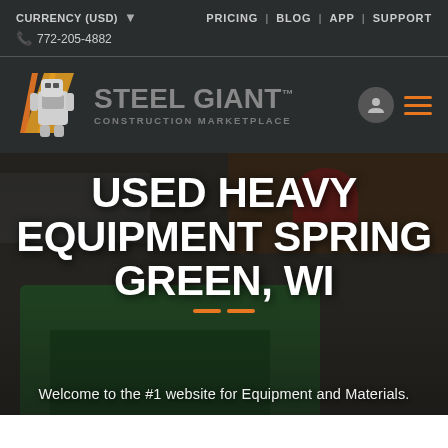CURRENCY (USD)   PRICING | BLOG | APP | SUPPORT   772-205-4882
[Figure (logo): Steel Giant Construction Marketplace logo with robot mascot and yellow/orange diagonal stripes, grey text, with user and menu icons]
USED HEAVY EQUIPMENT SPRING GREEN, WI
Welcome to the #1 website for Equipment and Materials.